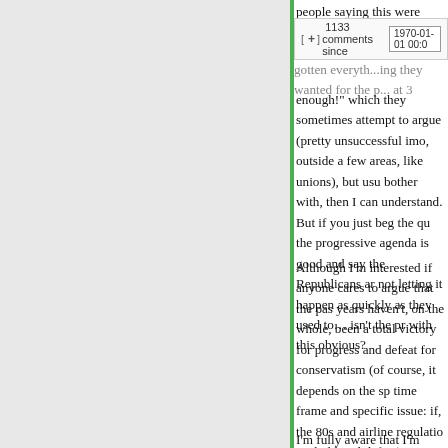people saying this were prefacing it with "the Republicans h... gotten everyth...ing they wanted for the p..." at 3...
enough!" which they sometimes attempt to argue (pretty unsuccessful imo, outside a few areas, like unions), but usu... bother with, then I can understand. But if you just beg the qu... the progressive agenda is good and say the Republicans ar... not letting it happen as quickly as they used to… isn't the pr... with this obvious?
Although I'm interested if anyone cares to argue that the pas... years haven't, on the whole, been a total victory for progress... and defeat for conservatism (of course, it depends on the sp... time frame and specific issue: if, the 80s and airline regulatio... yeah, liberal defeat), I'm also just saying, isn't it kind of ironi... party that has mostly gotten its way is the one accusing the ... being stubborn?
I'm fully aware that I'm partisan and biased here, but I don't... wrong in seeing an asymmetry here, at least, on the rhetoric...